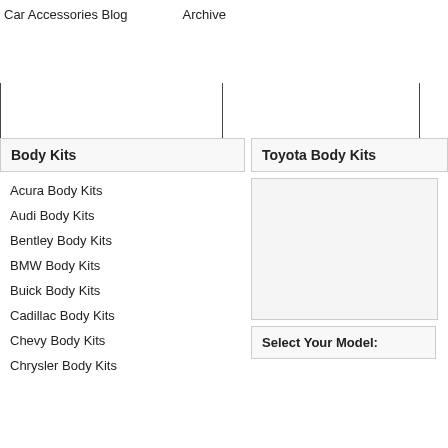Car Accessories Blog    Archive
Body Kits
Toyota Body Kits
Acura Body Kits
Audi Body Kits
Bentley Body Kits
BMW Body Kits
Buick Body Kits
Cadillac Body Kits
Chevy Body Kits
Chrysler Body Kits
[Figure (other): Image area for Toyota Body Kits]
Select Your Model: